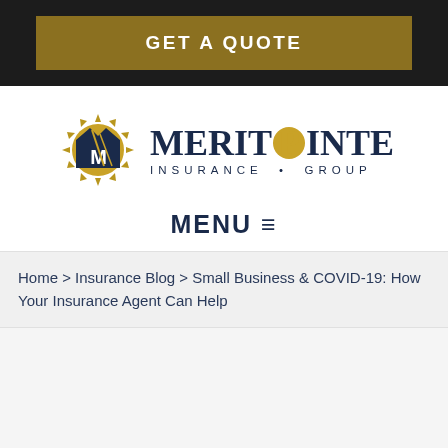GET A QUOTE
[Figure (logo): MeritPointe Insurance Group logo with blue mountain/M icon and gold sunburst coin replacing the O in Pointe]
MENU ≡
Home > Insurance Blog > Small Business & COVID-19: How Your Insurance Agent Can Help